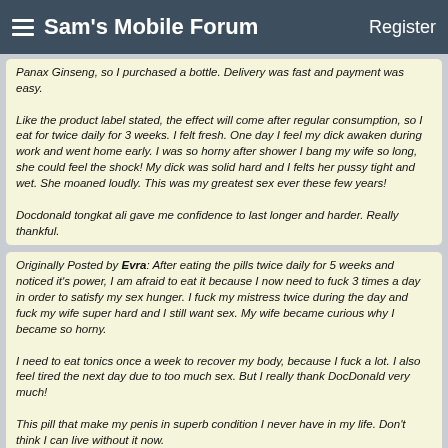Sam's Mobile Forum | Register
Panax Ginseng, so I purchased a bottle. Delivery was fast and payment was easy.

Like the product label stated, the effect will come after regular consumption, so I eat for twice daily for 3 weeks. I felt fresh. One day I feel my dick awaken during work and went home early. I was so horny after shower I bang my wife so long, she could feel the shock! My dick was solid hard and I felts her pussy tight and wet. She moaned loudly. This was my greatest sex ever these few years!

Docdonald tongkat ali gave me confidence to last longer and harder. Really thankful.
Originally Posted by Evra:
After eating the pills twice daily for 5 weeks and noticed it's power, I am afraid to eat it because I now need to fuck 3 times a day in order to satisfy my sex hunger. I fuck my mistress twice during the day and fuck my wife super hard and I still want sex. My wife became curious why I became so horny.

I need to eat tonics once a week to recover my body, because I fuck a lot. I also feel tired the next day due to too much sex. But I really thank DocDonald very much!

This pill that make my penis in superb condition I never have in my life. Don't think I can live without it now.
Originally Posted by Luckytime:
I became very horny after taking DocDonald for 3 weeks. I went to try on a hooker. We showered together the hooker was shocked to see why my dick was so hard. While stroking and foreplay she was worried she couldn't satisfy me. True enough after 2 rounds, she was too exhausted!

When i went home, I was still horny, with lots of energy and hardness my wife